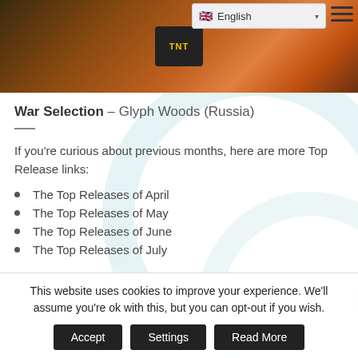[Figure (screenshot): Website header banner with a dark fantasy battle scene background, a central game logo (TNT) on dark background, English language selector dropdown, and hamburger menu icon]
War Selection – Glyph Woods (Russia)
If you're curious about previous months, here are more Top Release links:
The Top Releases of April
The Top Releases of May
The Top Releases of June
The Top Releases of July
The Top Releases of August
This website uses cookies to improve your experience. We'll assume you're ok with this, but you can opt-out if you wish.